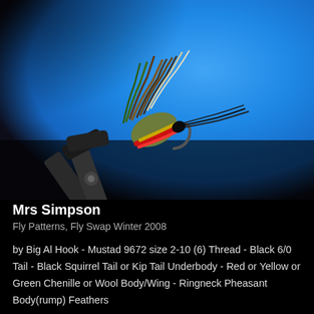[Figure (photo): Close-up photograph of a Mrs Simpson fly fishing lure held in vise/clamp against a blue background. The fly features colorful feathers including red, green, brown, and white materials, with pheasant body feathers visible as the wing.]
Mrs Simpson
Fly Patterns, Fly Swap Winter 2008
by Big Al Hook - Mustad 9672 size 2-10 (6) Thread - Black 6/0 Tail - Black Squirrel Tail or Kip Tail Underbody - Red or Yellow or Green Chenille or Wool Body/Wing - Ringneck Pheasant Body(rump) Feathers